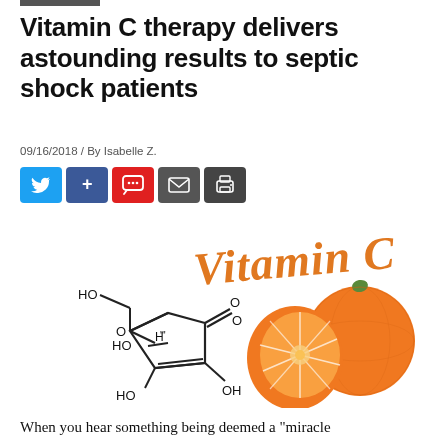Vitamin C therapy delivers astounding results to septic shock patients
09/16/2018 / By Isabelle Z.
[Figure (illustration): Illustration of Vitamin C chemical structure (ascorbic acid) drawn on white background with text 'Vitamin C' in orange handwritten style, alongside a photo of two oranges (one halved) on a white background.]
When you hear something being deemed a "miracle